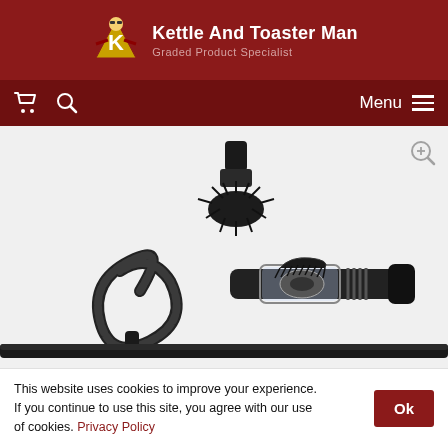Kettle And Toaster Man - Graded Product Specialist
[Figure (screenshot): Website navigation bar with cart icon, search icon, and Menu button on dark red background]
[Figure (photo): Vacuum cleaner accessories laid out on white background: a round brush attachment, a flexible hose, a handheld LED light tool, and a crevice tool at the bottom.]
This website uses cookies to improve your experience. If you continue to use this site, you agree with our use of cookies. Privacy Policy